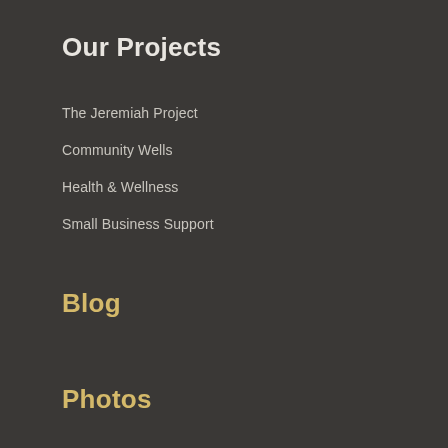Our Projects
The Jeremiah Project
Community Wells
Health & Wellness
Small Business Support
Blog
Photos